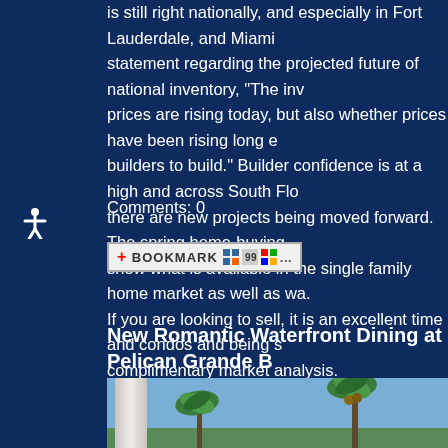is still right nationally, and especially in Fort Lauderdale, and Miami statement regarding the projected future of national inventory, "The inv prices are rising today, but also whether prices have been rising long e builders to build." Builder confidence is at a high and across South Flo there are new projects being moved forward. The spring home-buying show what is available in the single family home market as well as wa. If you are looking to sell, it is an excellent time and condos and being s complimentary market analysis.
Comments: 0
[Figure (screenshot): Bookmark button with plus icon and social sharing icons]
New Romantic Waterfront Dining at Pelican Grande B
[Figure (photo): Photo of palm trees and a white column against a blue sky, likely at Pelican Grande Beach Resort]